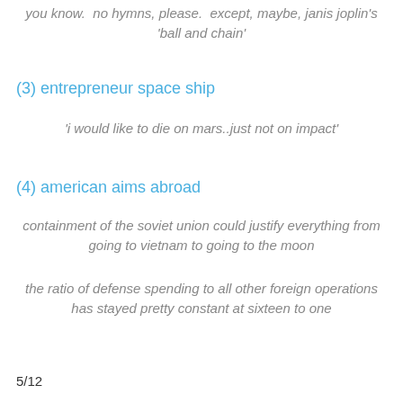you know.  no hymns, please.  except, maybe, janis joplin's 'ball and chain'
(3) entrepreneur space ship
'i would like to die on mars..just not on impact'
(4) american aims abroad
containment of the soviet union could justify everything from going to vietnam to going to the moon
the ratio of defense spending to all other foreign operations has stayed pretty constant at sixteen to one
5/12